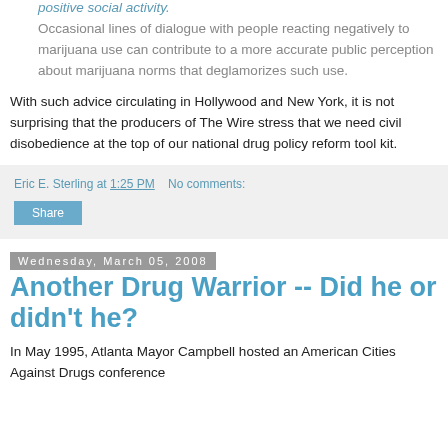positive social activity.
Occasional lines of dialogue with people reacting negatively to marijuana use can contribute to a more accurate public perception about marijuana norms that deglamorizes such use.
With such advice circulating in Hollywood and New York, it is not surprising that the producers of The Wire stress that we need civil disobedience at the top of our national drug policy reform tool kit.
Eric E. Sterling at 1:25 PM   No comments:
Share
Wednesday, March 05, 2008
Another Drug Warrior -- Did he or didn't he?
In May 1995, Atlanta Mayor Campbell hosted an American Cities Against Drugs conference